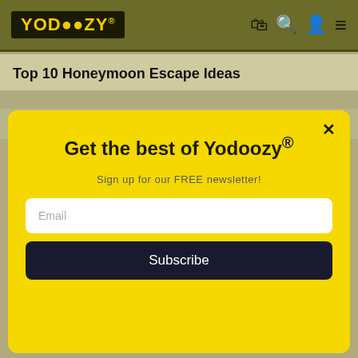YODOOZY®
Top 10 Honeymoon Escape Ideas
MORE FROM: CELEBRITIES
Get the best of Yodoozy®
Sign up for our FREE newsletter!
Email
Subscribe